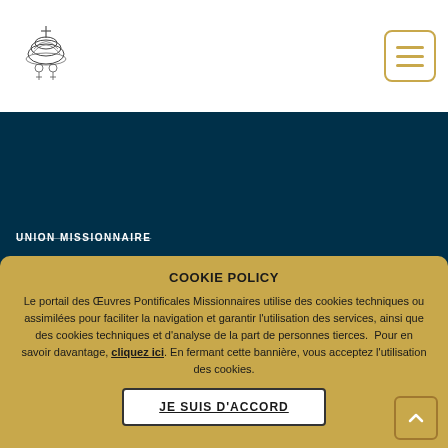[Figure (logo): Vatican/Pontifical coat of arms logo at top left]
UNION MISSIONNAIRE
SOUTIEN À L'ÉGLISE UNIVERSELLE
Découvrez les projets
Faire un don
COOKIE POLICY
Le portail des Œuvres Pontificales Missionnaires utilise des cookies techniques ou assimilées pour faciliter la navigation et garantir l'utilisation des services, ainsi que des cookies techniques et d'analyse de la part de personnes tierces.  Pour en savoir davantage, cliquez ici. En fermant cette bannière, vous acceptez l'utilisation des cookies.
JE SUIS D'ACCORD